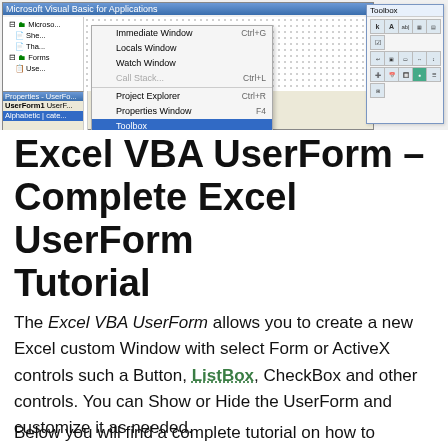[Figure (screenshot): Screenshot of the Excel VBA editor showing the View menu dropdown with 'Toolbox' highlighted in blue, alongside the project tree panel, properties panel, code area with dot grid, and a floating Toolbox panel with icons on the right.]
Excel VBA UserForm – Complete Excel UserForm Tutorial
The Excel VBA UserForm allows you to create a new Excel custom Window with select Form or ActiveX controls such a Button, ListBox, CheckBox and other controls. You can Show or Hide the UserForm and customize it as needed.
Below you will find a complete tutorial on how to